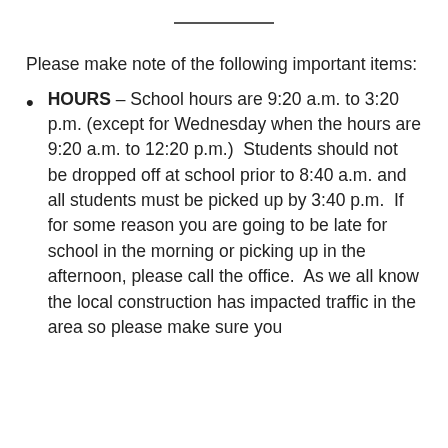Please make note of the following important items:
HOURS – School hours are 9:20 a.m. to 3:20 p.m. (except for Wednesday when the hours are 9:20 a.m. to 12:20 p.m.)  Students should not be dropped off at school prior to 8:40 a.m. and all students must be picked up by 3:40 p.m.  If for some reason you are going to be late for school in the morning or picking up in the afternoon, please call the office.  As we all know the local construction has impacted traffic in the area so please make sure you